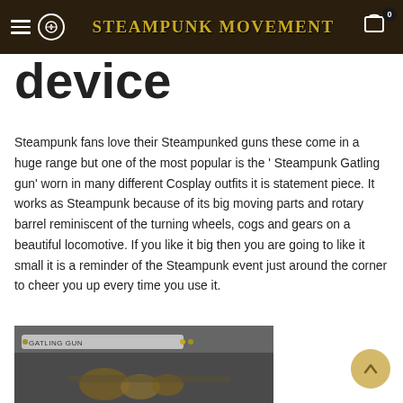Steampunk Movement
device
Steampunk fans love their Steampunked guns these come in a huge range but one of the most popular is the ' Steampunk Gatling gun' worn in many different Cosplay outfits it is statement piece. It works as Steampunk because of its big moving parts and rotary barrel reminiscent of the turning wheels, cogs and gears on a beautiful locomotive. If you like it big then you are going to like it small it is a reminder of the Steampunk event just around the corner to cheer you up every time you use it.
[Figure (photo): Photograph of a Steampunk Gatling gun device showing a label bar reading 'GATLING GUN' and mechanical parts with bronze/gold coloring on a grey background]